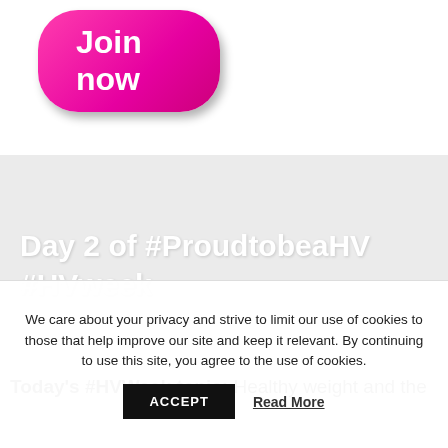[Figure (illustration): Pink oval 'Join now' button with white bold text and drop shadow on white background]
Day 2 of #ProudtobeaHV #HVweek
Today's #HVWeek topic: Healthy weight and the
We care about your privacy and strive to limit our use of cookies to those that help improve our site and keep it relevant. By continuing to use this site, you agree to the use of cookies.
ACCEPT   Read More